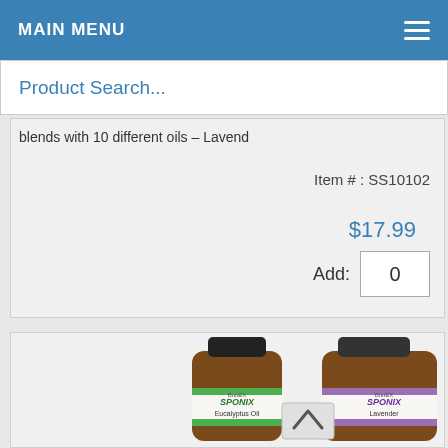MAIN MENU
Product Search...
blends with 10 different oils – Lavend
Item # : SS10102
$17.99
Add: 0
[Figure (photo): Two brown glass essential oil bottles: Sponix Eucalyptus Oil and Sponix Lavender, with a back/up navigation button overlay]